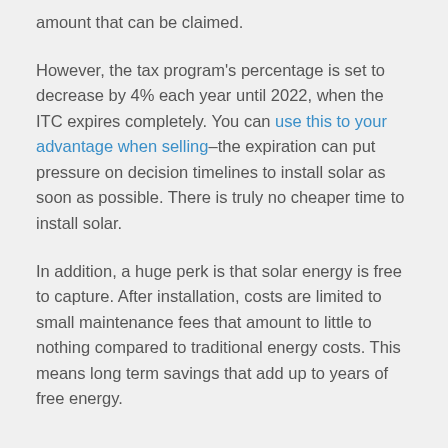amount that can be claimed.
However, the tax program's percentage is set to decrease by 4% each year until 2022, when the ITC expires completely. You can use this to your advantage when selling—the expiration can put pressure on decision timelines to install solar as soon as possible. There is truly no cheaper time to install solar.
In addition, a huge perk is that solar energy is free to capture. After installation, costs are limited to small maintenance fees that amount to little to nothing compared to traditional energy costs. This means long term savings that add up to years of free energy.